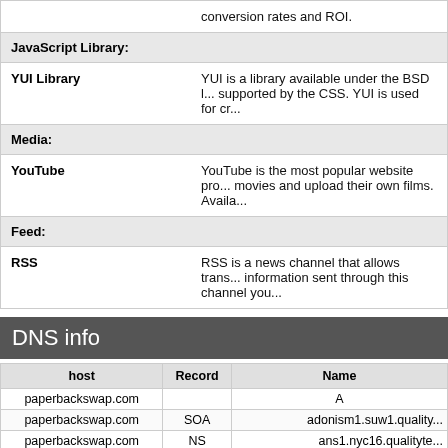|  |  |
| --- | --- |
| (continued) | conversion rates and ROI. |
| JavaScript Library: |  |
| YUI Library | YUI is a library available under the BSD license supported by the CSS. YUI is used for cr... |
| Media: |  |
| YouTube | YouTube is the most popular website pro... movies and upload their own films. Availa... |
| Feed: |  |
| RSS | RSS is a news channel that allows trans... information sent through this channel you... |
DNS info
| host | Record | Name |
| --- | --- | --- |
| paperbackswap.com |  | A |
| paperbackswap.com | SOA | adonism1.suw1.quality... |
| paperbackswap.com | NS | ans1.nyc16.qualityte... |
| paperbackswap.com | NS | ans1.jcy1.qualitytec... |
| paperbackswap.com | NS | ans1.sjc1.qualitytec... |
| paperbackswap.com | NS | ans1.suw1.qualityte... |
| paperbackswap.com | MX | 10  aspmx2.google... |
| paperbackswap.com | MX | 5  alt2.aspmx.l.go... |